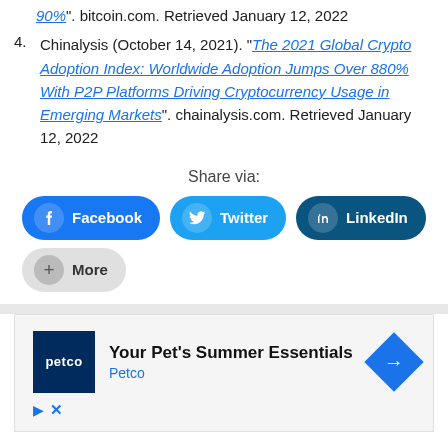90%". bitcoin.com. Retrieved January 12, 2022
4. Chinalysis (October 14, 2021). "The 2021 Global Crypto Adoption Index: Worldwide Adoption Jumps Over 880% With P2P Platforms Driving Cryptocurrency Usage in Emerging Markets". chainalysis.com. Retrieved January 12, 2022
Share via:
[Figure (other): Social share buttons: Facebook, Twitter, LinkedIn, More]
[Figure (other): Advertisement: Petco - Your Pet's Summer Essentials]